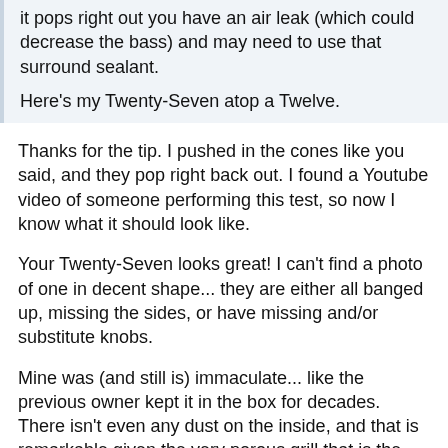it pops right out you have an air leak (which could decrease the bass) and may need to use that surround sealant.

Here's my Twenty-Seven atop a Twelve.
Thanks for the tip. I pushed in the cones like you said, and they pop right back out. I found a Youtube video of someone performing this test, so now I know what it should look like.
Your Twenty-Seven looks great! I can't find a photo of one in decent shape... they are either all banged up, missing the sides, or have missing and/or substitute knobs.
Mine was (and still is) immaculate... like the previous owner kept it in the box for decades. There isn't even any dust on the inside, and that is remarkable given the very porous grill that is the whole top panel! Here's my photo album of the whole thing, front to back: https://flic.kr/s/aHskuP1BoR
[Figure (photo): Photo of an audio device/speaker system on a shelf, dark background with brown wooden shelf visible]